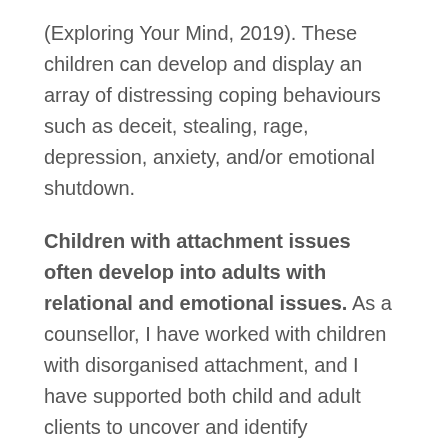(Exploring Your Mind, 2019). These children can develop and display an array of distressing coping behaviours such as deceit, stealing, rage, depression, anxiety, and/or emotional shutdown.
Children with attachment issues often develop into adults with relational and emotional issues. As a counsellor, I have worked with children with disorganised attachment, and I have supported both child and adult clients to uncover and identify dysfunctional relating and explanatory styles, as the first step in developing new, healthy neural